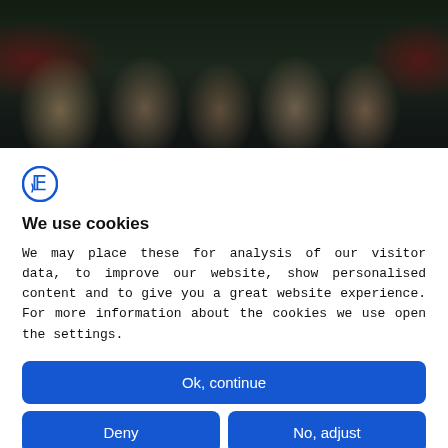[Figure (photo): Group photo of several young women smiling, taken indoors near windows with dark winter trees visible outside; red wall visible on sides; dark overlay applied]
SOFIA ENSTRÖM | 2020-03-06 14:53 | 6 MIN READ
[Figure (logo): Circular blue logo icon with stylized letter F]
We use cookies
We may place these for analysis of our visitor data, to improve our website, show personalised content and to give you a great website experience. For more information about the cookies we use open the settings.
Ok, continue
Deny
No, adjust